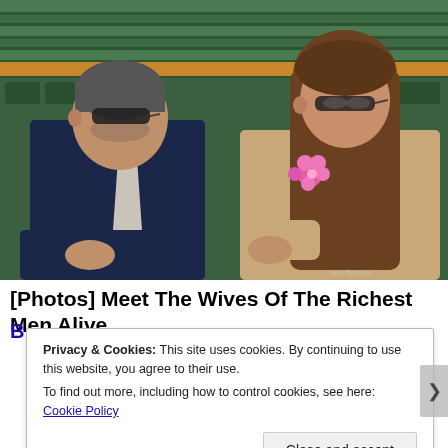[Figure (photo): Two people sitting in what appears to be a stadium or event venue with green seats. On the left is an older man in a dark navy suit with a light tie and sunglasses. On the right is a younger woman with long brown hair wearing a beige/cream textured outfit with a pink flower, also wearing sunglasses.]
[Photos] Meet The Wives Of The Richest Men Alive
Privacy & Cookies: This site uses cookies. By continuing to use this website, you agree to their use.
To find out more, including how to control cookies, see here: Cookie Policy
Close and accept